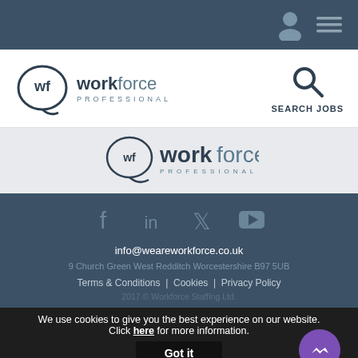[Figure (logo): Top navigation bar with person icon and hamburger menu icon on dark blue background]
[Figure (logo): Workforce Professional logo with wf speech bubble icon and SEARCH JOBS button with magnifier icon]
[Figure (logo): Workforce Professional large logo on light grey band]
info@weareworkforce.co.uk
9 Church Green West Redditch Worcestershire B97 5UB
Terms & Conditions | Cookies | Privacy Policy
2017 © Workforce Staffing Ltd.
We use cookies to give you the best experience on our website. Click here for more information.
Got it